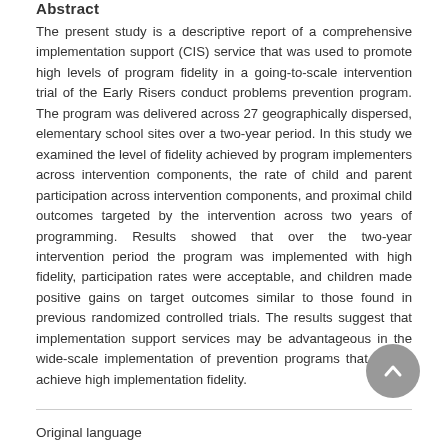Abstract
The present study is a descriptive report of a comprehensive implementation support (CIS) service that was used to promote high levels of program fidelity in a going-to-scale intervention trial of the Early Risers conduct problems prevention program. The program was delivered across 27 geographically dispersed, elementary school sites over a two-year period. In this study we examined the level of fidelity achieved by program implementers across intervention components, the rate of child and parent participation across intervention components, and proximal child outcomes targeted by the intervention across two years of programming. Results showed that over the two-year intervention period the program was implemented with high fidelity, participation rates were acceptable, and children made positive gains on target outcomes similar to those found in previous randomized controlled trials. The results suggest that implementation support services may be advantageous in the wide-scale implementation of prevention programs that aim to achieve high implementation fidelity.
Original language